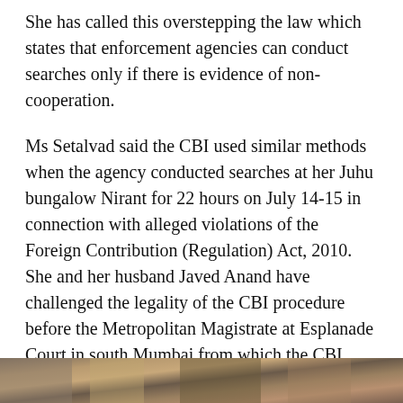She has called this overstepping the law which states that enforcement agencies can conduct searches only if there is evidence of non-cooperation.
Ms Setalvad said the CBI used similar methods when the agency conducted searches at her Juhu bungalow Nirant for 22 hours on July 14-15 in connection with alleged violations of the Foreign Contribution (Regulation) Act, 2010. She and her husband Javed Anand have challenged the legality of the CBI procedure before the Metropolitan Magistrate at Esplanade Court in south Mumbai from which the CBI obtained the orders.
Ms Setalvad said enforcement agencies have the right to conduct raids and obtain search warrants from courts, but there is a process laid down under section 91 and 93 of the Criminal Procedure Code.
[Figure (photo): A partial photograph strip visible at the bottom of the page showing blurred figures or a scene outdoors.]